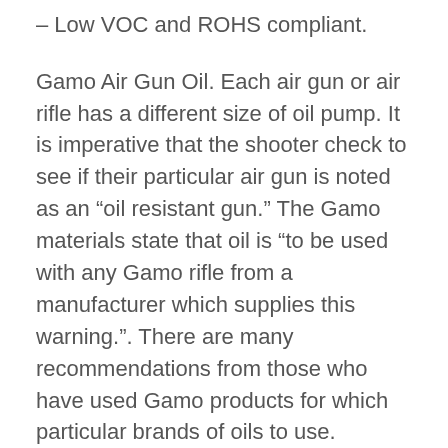– Low VOC and ROHS compliant.
Gamo Air Gun Oil. Each air gun or air rifle has a different size of oil pump. It is imperative that the shooter check to see if their particular air gun is noted as an “oil resistant gun.” The Gamo materials state that oil is “to be used with any Gamo rifle from a manufacturer which supplies this warning.”. There are many recommendations from those who have used Gamo products for which particular brands of oils to use.
One customer review states, “The Gamo manfactures recommend to use a high grade grease as a preservative. Slippery skin grease, 3in-1 oil, fishing reel grease, or a 2-cycle oil is best. I use a 3in-1 oil on my Gamo sniper rifle.”. Oxford Precision Tornado is a suitable choice if a hardware store is available.